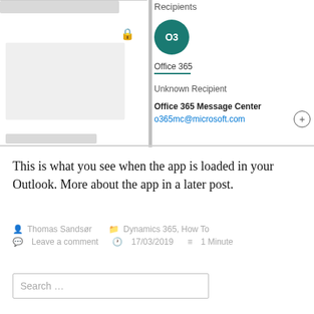[Figure (screenshot): Screenshot of an Outlook add-in/app interface showing a Recipients panel with an Office 365 circle avatar, Office 365 name label with teal underline, Unknown Recipient label, and Office 365 Message Center with email o365mc@microsoft.com and a plus circle button. Left side shows gray placeholder bars and a white content box with a lock icon.]
This is what you see when the app is loaded in your Outlook. More about the app in a later post.
Thomas Sandsør  Dynamics 365, How To  Leave a comment  17/03/2019  1 Minute
Search …